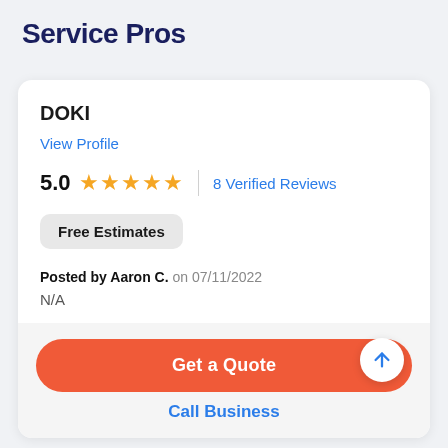Service Pros
DOKI
View Profile
5.0 ★★★★★ | 8 Verified Reviews
Free Estimates
Posted by Aaron C. on 07/11/2022
N/A
Get a Quote
Call Business